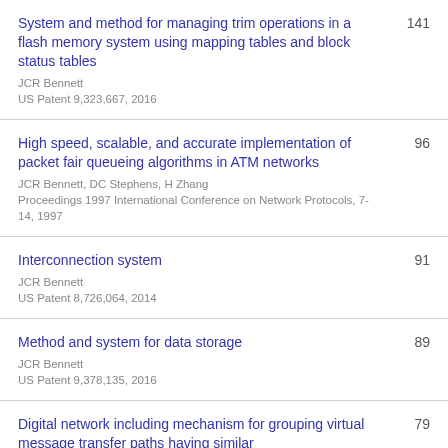System and method for managing trim operations in a flash memory system using mapping tables and block status tables
JCR Bennett
US Patent 9,323,667, 2016
141
High speed, scalable, and accurate implementation of packet fair queueing algorithms in ATM networks
JCR Bennett, DC Stephens, H Zhang
Proceedings 1997 International Conference on Network Protocols, 7-14, 1997
96
Interconnection system
JCR Bennett
US Patent 8,726,064, 2014
91
Method and system for data storage
JCR Bennett
US Patent 9,378,135, 2016
89
Digital network including mechanism for grouping virtual message transfer paths having similar
79